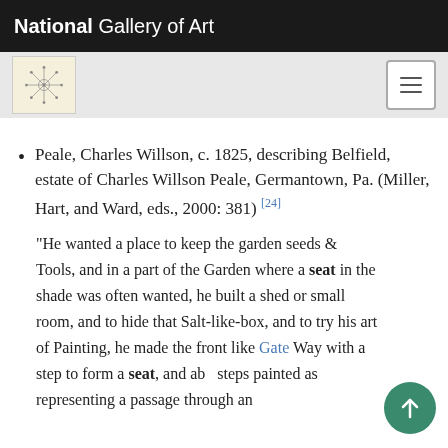National Gallery of Art
Peale, Charles Willson, c. 1825, describing Belfield, estate of Charles Willson Peale, Germantown, Pa. (Miller, Hart, and Ward, eds., 2000: 381) [24]
“He wanted a place to keep the garden seeds & Tools, and in a part of the Garden where a seat in the shade was often wanted, he built a shed or small room, and to hide that Salt-like-box, and to try his art of Painting, he made the front like Gate Way with a step to form a seat, and abo steps painted as representing a passage through an